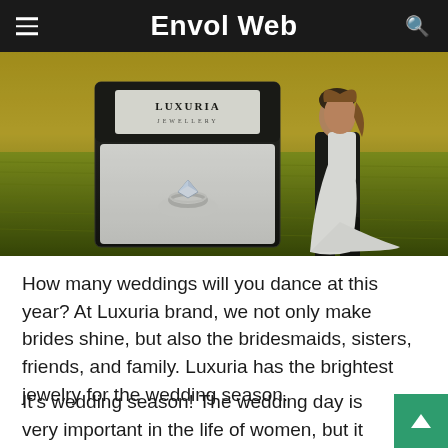Envol Web
[Figure (photo): Hero image showing a Luxuria Jewellery ring box with a diamond ring in foreground and a bride and groom embracing in a green field in the background.]
How many weddings will you dance at this year? At Luxuria brand, we not only make brides shine, but also the bridesmaids, sisters, friends, and family. Luxuria has the brightest jewelry for the wedding season.
It’s wedding season! The wedding day is very important in the life of women, but it is not only